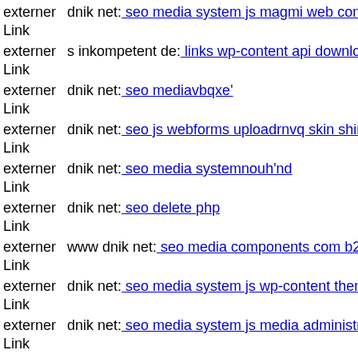externer Link  dnik net: seo media system js magmi web components com
externer Link  s inkompetent de: links wp-content api downloader tmp mil
externer Link  dnik net: seo mediavbqxe'
externer Link  dnik net: seo js webforms uploadrnvq skin shingo php
externer Link  dnik net: seo media systemnouh'nd
externer Link  dnik net: seo delete php
externer Link  www dnik net: seo media components com b2jcontact dnik
externer Link  dnik net: seo media system js wp-content themes simfo dnil
externer Link  dnik net: seo media system js media administrator public up
externer Link  www dnik net: seo media system js magmi web wp-content
externer Link  s inkompetent de: links phpthumb thumb app etc links wp-c